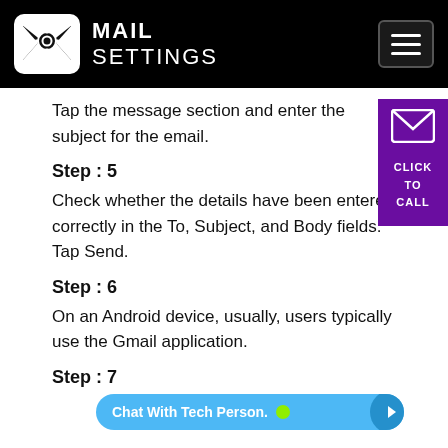MAIL SETTINGS
Tap the message section and enter the subject for the email.
Step : 5
Check whether the details have been entered correctly in the To, Subject, and Body fields. Tap Send.
Step : 6
On an Android device, usually, users typically use the Gmail application.
Step : 7